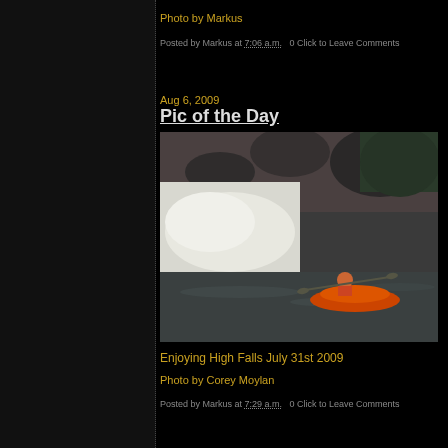Photo by Markus
Posted by Markus at 7:06 a.m.   0 Click to Leave Comments
Aug 6, 2009
Pic of the Day
[Figure (photo): A kayaker in an orange kayak paddling on a river with a large waterfall/rapids in the background, surrounded by rocks and trees.]
Enjoying High Falls July 31st 2009
Photo by Corey Moylan
Posted by Markus at 7:29 a.m.   0 Click to Leave Comments